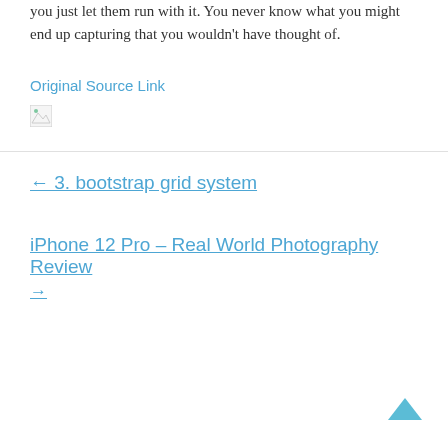you just let them run with it. You never know what you might end up capturing that you wouldn't have thought of.
Original Source Link
[Figure (illustration): Broken image icon placeholder]
← 3. bootstrap grid system
iPhone 12 Pro – Real World Photography Review →